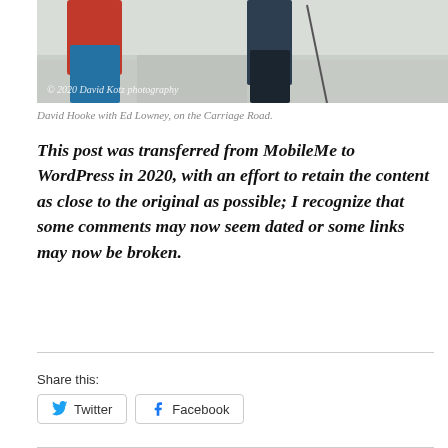[Figure (photo): Two people in winter clothing working near snow, one in red jacket and blue pants, one in dark clothing, with ski poles visible. Copyright watermark reads '© 2020 David Kotz photography']
David Hooke with Ed Lowney, on the Carriage Road.
This post was transferred from MobileMe to WordPress in 2020, with an effort to retain the content as close to the original as possible; I recognize that some comments may now seem dated or some links may now be broken.
Share this:
Twitter
Facebook